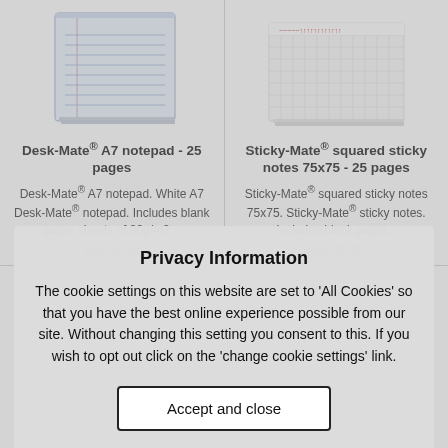[Figure (photo): Desk-Mate A7 notepad product image - blue/white lined notepad]
Desk-Mate® A7 notepad - 25 pages
Desk-Mate® A7 notepad. White A7 Desk-Mate® notepad. Includes blank paper sheets of 80g/m2...
from £0.34
[Figure (photo): Sticky-Mate squared sticky notes product image - white notepad with bird design]
Sticky-Mate® squared sticky notes 75x75 - 25 pages
Sticky-Mate® squared sticky notes 75x75. Sticky-Mate® sticky notes. Includes blank paper...
from £0.35
Privacy Information
The cookie settings on this website are set to 'All Cookies' so that you have the best online experience possible from our site. Without changing this setting you consent to this. If you wish to opt out click on the 'change cookie settings' link.
Accept and close
Privacy Policy | Cookie Settings